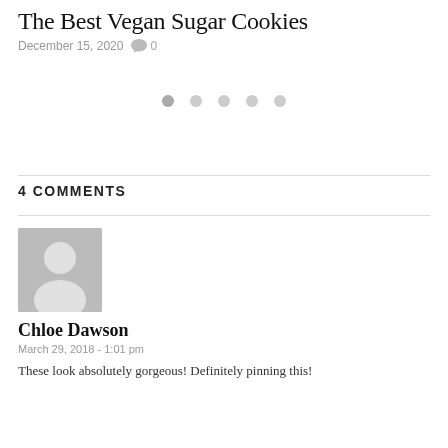The Best Vegan Sugar Cookies
December 15, 2020  0
[Figure (other): Pagination dots row: five circles, first one darker (active)]
4 COMMENTS
[Figure (photo): Default gray avatar placeholder image of a person silhouette]
Chloe Dawson
March 29, 2018 - 1:01 pm
These look absolutely gorgeous! Definitely pinning this!